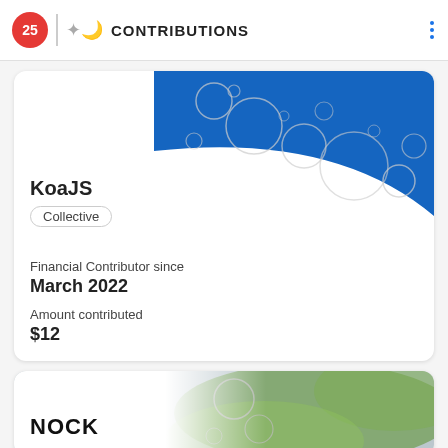25 CONTRIBUTIONS
KoaJS
Collective
Financial Contributor since
March 2022
Amount contributed
$12
NOCK